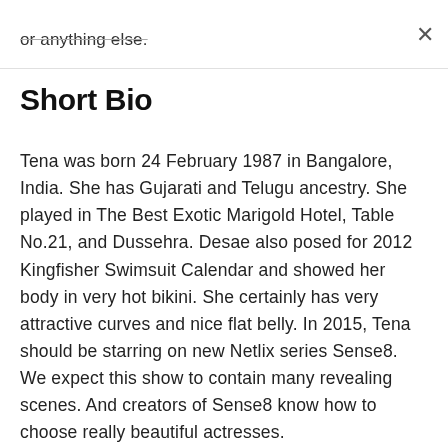or anything else.
Short Bio
Tena was born 24 February 1987 in Bangalore, India. She has Gujarati and Telugu ancestry. She played in The Best Exotic Marigold Hotel, Table No.21, and Dussehra. Desae also posed for 2012 Kingfisher Swimsuit Calendar and showed her body in very hot bikini. She certainly has very attractive curves and nice flat belly. In 2015, Tena should be starring on new Netlix series Sense8. We expect this show to contain many revealing scenes. And creators of Sense8 know how to choose really beautiful actresses.